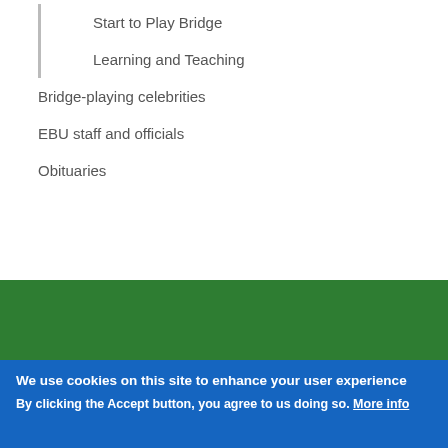Start to Play Bridge
Learning and Teaching
Bridge-playing celebrities
EBU staff and officials
Obituaries
We use cookies on this site to enhance your user experience
By clicking the Accept button, you agree to us doing so. More info